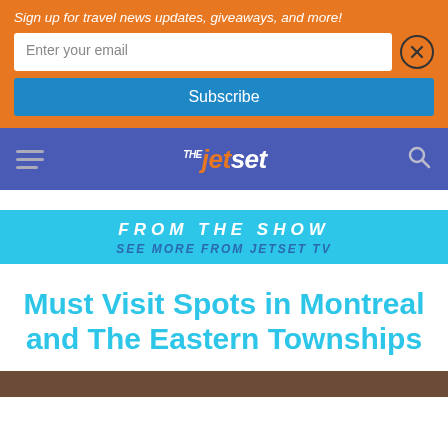Sign up for travel news updates, giveaways, and more!
Enter your email
Subscribe
THE JETSET
FROM THE SHOW
SEE MORE FROM JETSET TV
Must Visit Spots in Montreal and The Eastern Townships